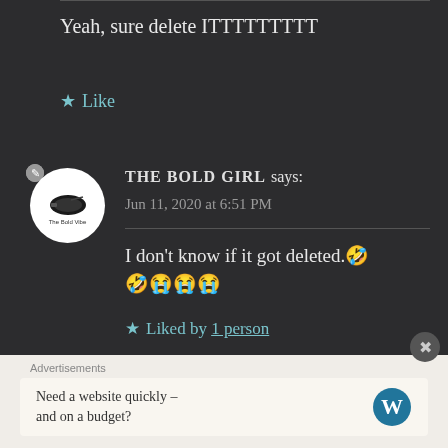Yeah, sure delete ITTTTTTTTT
★ Like
THE BOLD GIRL says:
Jun 11, 2020 at 6:51 PM
I don't know if it got deleted.🤣🤣😭😭😭
★ Liked by 1 person
Advertisements
Need a website quickly – and on a budget?